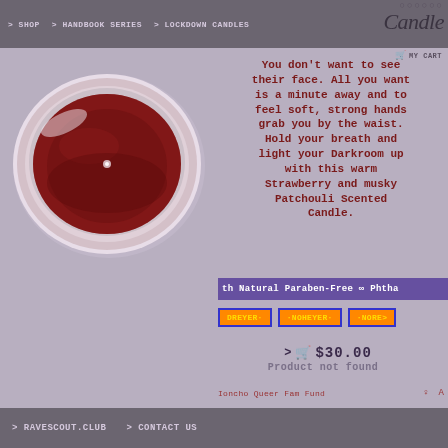> SHOP  > HANDBOOK SERIES  > LOCKDOWN CANDLES
candle
[Figure (photo): Top-down view of a dark red/crimson scented candle in a round container with a pale pink/beige rim, showing the wax surface with a small white center dot]
You don't want to see their face. All you want is a minute away and to feel soft, strong hands grab you by the waist. Hold your breath and light your Darkroom up with this warm Strawberry and musky Patchouli Scented Candle.
th Natural Paraben-Free ∞ Phtha
DREYER·
·NOHEYER·
·NORE>
> 🛒 $30.00
Product not found
Ioncho Queer Fam Fund
> RAVESCOUT.CLUB  > CONTACT US